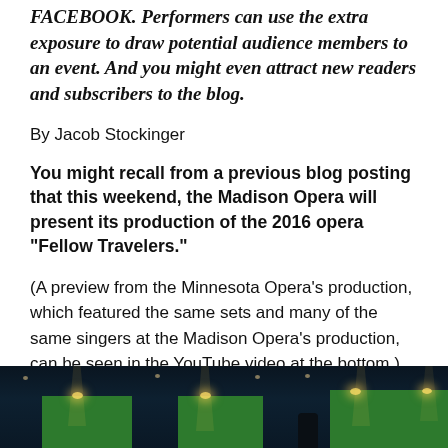FACEBOOK. Performers can use the extra exposure to draw potential audience members to an event. And you might even attract new readers and subscribers to the blog.
By Jacob Stockinger
You might recall from a previous blog posting that this weekend, the Madison Opera will present its production of the 2016 opera “Fellow Travelers.”
(A preview from the Minnesota Opera’s production, which featured the same sets and many of the same singers at the Madison Opera’s production, can be seen in the YouTube video at the bottom.)
[Figure (photo): Dark stage photo with green panels and spotlights illuminating a theatrical set]